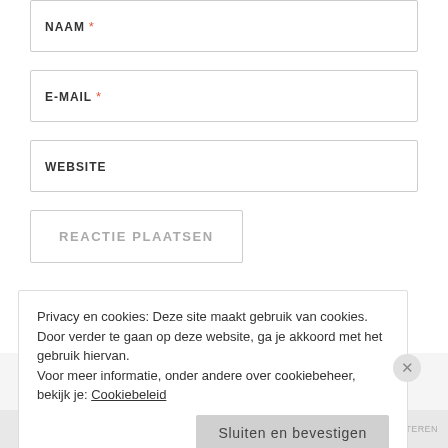NAAM *
E-MAIL *
WEBSITE
REACTIE PLAATSEN
Houd me via e-mail op de hoogte van nieuwe reacties.
Privacy en cookies: Deze site maakt gebruik van cookies. Door verder te gaan op deze website, ga je akkoord met het gebruik hiervan. Voor meer informatie, onder andere over cookiebeheer, bekijk je: Cookiebeleid
Sluiten en bevestigen